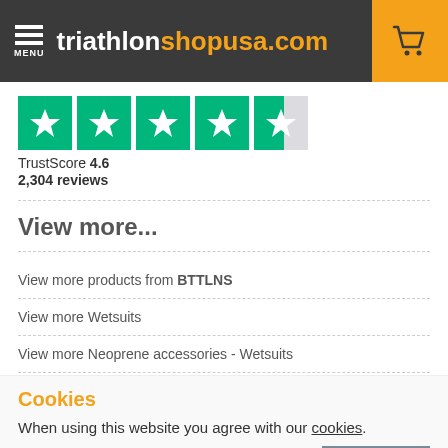triathlon shopusa.com
[Figure (other): Trustpilot rating stars showing 4.6 out of 5 stars with green star boxes, last star half-filled]
TrustScore 4.6
2,304 reviews
View more...
View more products from BTTLNS
View more Wetsuits
View more Neoprene accessories - Wetsuits
Cookies
When using this website you agree with our cookies.